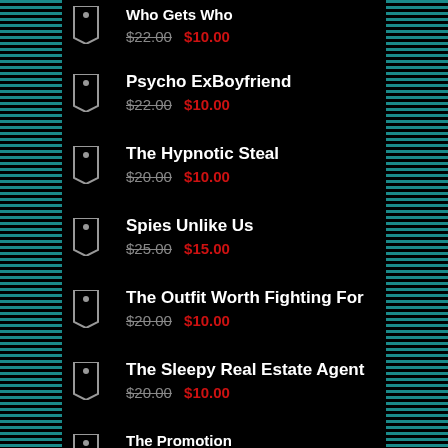Who Gets Who — $22.00 $10.00
Psycho ExBoyfriend — $22.00 $10.00
The Hypnotic Steal — $20.00 $10.00
Spies Unlike Us — $25.00 $15.00
The Outfit Worth Fighting For — $20.00 $10.00
The Sleepy Real Estate Agent — $20.00 $10.00
The Promotion — (partial)